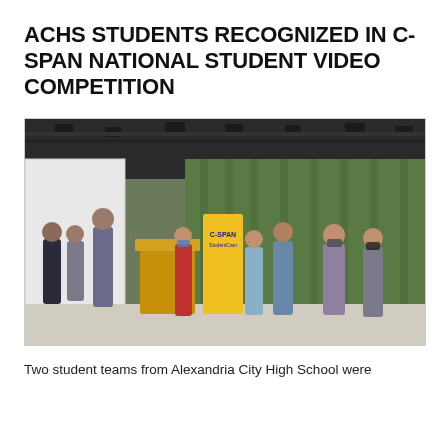ACHS STUDENTS RECOGNIZED IN C-SPAN NATIONAL STUDENT VIDEO COMPETITION
[Figure (photo): Group of students and adults standing on a stage with a green curtain backdrop and stage lighting. A yellow/gold podium is visible, along with a yellow C-SPAN StudentCam banner. Several students are wearing face masks.]
Two student teams from Alexandria City High School were